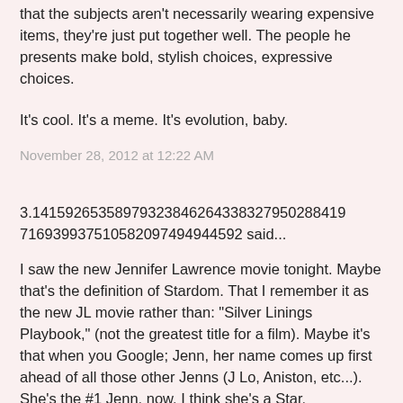One of the most fascinating things about it is that the subjects aren't necessarily wearing expensive items, they're just put together well. The people he presents make bold, stylish choices, expressive choices.
It's cool. It's a meme. It's evolution, baby.
November 28, 2012 at 12:22 AM
3.14159265358979323846264338327950288419716939937510582097494 4592 said...
I saw the new Jennifer Lawrence movie tonight. Maybe that's the definition of Stardom. That I remember it as the new JL movie rather than: "Silver Linings Playbook," (not the greatest title for a film). Maybe it's that when you Google; Jenn, her name comes up first ahead of all those other Jenns (J Lo, Aniston, etc...). She's the #1 Jenn, now. I think she's a Star.
What defines a Star, rather than simply an actor or actress? It's not looks. It's not necessarily